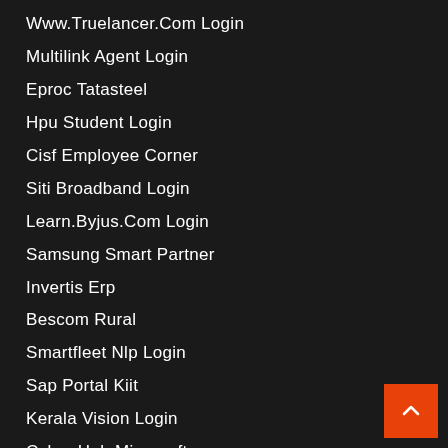Www.Truelancer.Com Login
Multilink Agent Login
Eproc Tatasteel
Hpu Student Login
Cisf Employee Corner
Siti Broadband Login
Learn.Byjus.Com Login
Samsung Smart Partner
Invertis Erp
Bescom Rural
Smartfleet Nlp Login
Sap Portal Kiit
Kerala Vision Login
Cyber Hub Minecraft
Flite Login
Sbtet Student Portal
Clzone
Aes Ajce